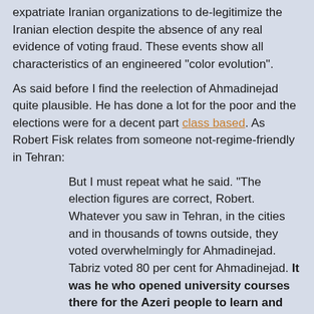expatriate Iranian organizations to de-legitimize the Iranian election despite the absence of any real evidence of voting fraud. These events show all characteristics of an engineered "color evolution".
As said before I find the reelection of Ahmadinejad quite plausible. He has done a lot for the poor and the elections were for a decent part class based. As Robert Fisk relates from someone not-regime-friendly in Tehran:
But I must repeat what he said. "The election figures are correct, Robert. Whatever you saw in Tehran, in the cities and in thousands of towns outside, they voted overwhelmingly for Ahmadinejad. Tabriz voted 80 per cent for Ahmadinejad. It was he who opened university courses there for the Azeri people to learn and win degrees in Azeri. In Mashad, the second city of Iran, there was a huge majority for Ahmadinejad after the imam of the great mosque attacked Rafsanjani of the Expediency Council who had started to ally himself with Mousavi. They knew what that meant: they had to vote for Ahmadinejad."
My guest and I drank dookh, the cool Iranian